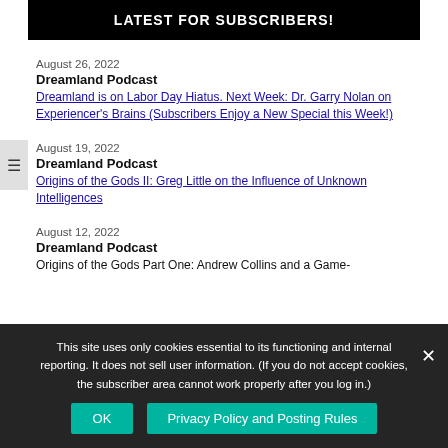LATEST FOR SUBSCRIBERS!
August 26, 2022
Dreamland Podcast
Dreamland is on Labor Day Hiatus. Next Week: Dr. Garry Nolan on Experiencer’s Brains (Subscribers Enjoy a New Special this Week!)
August 19, 2022
Dreamland Podcast
Origins of the Gods II: Greg Little on the Influence of Unknown Intelligences
August 12, 2022
Dreamland Podcast
Origins of the Gods Part One: Andrew Collins and a Game-
This site uses only cookies essential to its functioning and internal reporting. It does not sell user information. (If you do not accept cookies, the subscriber area cannot work properly after you log in.)
OK
Privacy Policy and Posting Rules